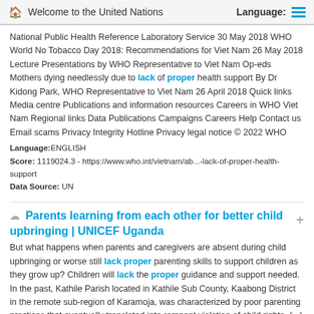Welcome to the United Nations   Language:
National Public Health Reference Laboratory Service 30 May 2018 WHO World No Tobacco Day 2018: Recommendations for Viet Nam 26 May 2018 Lecture Presentations by WHO Representative to Viet Nam Op-eds Mothers dying needlessly due to lack of proper health support By Dr Kidong Park, WHO Representative to Viet Nam 26 April 2018 Quick links Media centre Publications and information resources Careers in WHO Viet Nam Regional links Data Publications Campaigns Careers Help Contact us Email scams Privacy Integrity Hotline Privacy legal notice © 2022 WHO
Language:ENGLISH
Score: 1119024.3 - https://www.who.int/vietnam/ab...-lack-of-proper-health-support
Data Source: UN
Parents learning from each other for better child upbringing | UNICEF Uganda
But what happens when parents and caregivers are absent during child upbringing or worse still lack proper parenting skills to support children as they grow up? Children will lack the proper guidance and support needed. In the past, Kathile Parish located in Kathile Sub County, Kaabong District in the remote sub-region of Karamoja, was characterized by poor parenting practices that eventually translated into rampant violation of child rights. (...) She educated parents and caregivers about proper child upbringing in church and village meetings.
Language:ENGLISH